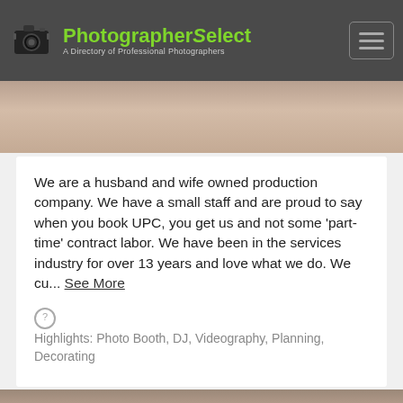PhotographerSelect — A Directory of Professional Photographers
[Figure (photo): Sandy/rocky landscape photo strip at the top of a photographer listing card]
We are a husband and wife owned production company. We have a small staff and are proud to say when you book UPC, you get us and not some 'part-time' contract labor. We have been in the services industry for over 13 years and love what we do. We cu... See More
Highlights: Photo Booth, DJ, Videography, Planning, Decorating
Andrew Wardlow Photography
7 miles from Panama City, FL
[Figure (photo): Portrait photo at the bottom of the page, partially visible]